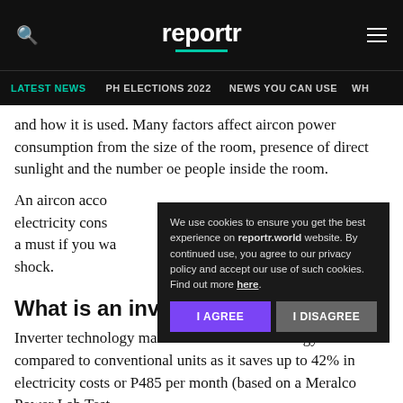reportr
LATEST NEWS | PH ELECTIONS 2022 | NEWS YOU CAN USE | WH
and how it is used. Many factors affect aircon power consumption from the size of the room, presence of direct sunlight and the number oe people inside the room.
An aircon acco... electricity cons... a must if you wa... shock.
We use cookies to ensure you get the best experience on reportr.world website. By continued use, you agree to our privacy policy and accept our use of such cookies. Find out more here.
What is an inverter aircon?
Inverter technology makes an aircon more energy efficient compared to conventional units as it saves up to 42% in electricity costs or P485 per month (based on a Meralco Power Lab Test